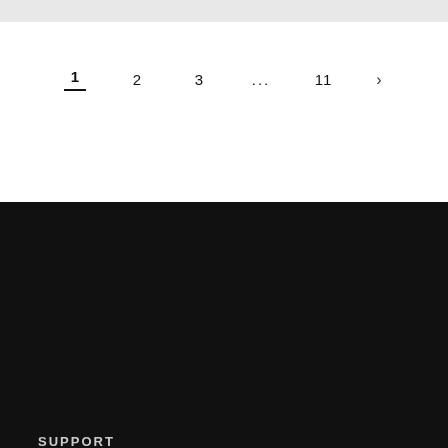[Figure (screenshot): Top grey bar at the top of the page]
1  2  3  ...  11  >
SUPPORT
FAQ
Contact
Forums
[Figure (illustration): Blue circle chat bubble icon]
BLOG